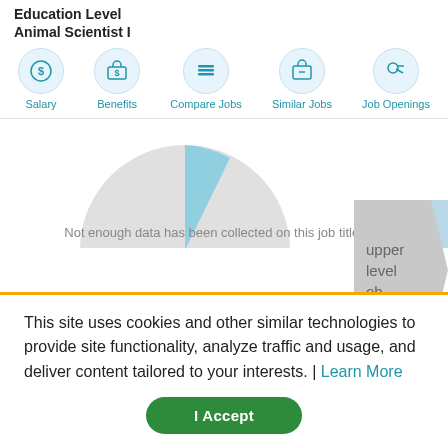Education Level
Animal Scientist I
[Figure (other): Navigation icon row with circular icons for Salary, Benefits, Compare Jobs, Similar Jobs, Job Openings]
[Figure (other): Partial pie chart (large grey slice, small blue slice at top) alongside a bar chart with 5 light blue bars of varying heights. Chart is cropped. Arrow overlay on right side with text 'upper level ob'.]
Not enough data has been collected on this job title yet.
This site uses cookies and other similar technologies to provide site functionality, analyze traffic and usage, and deliver content tailored to your interests. | Learn More
I Accept